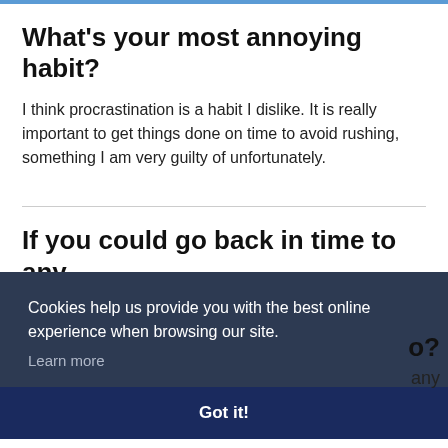What's your most annoying habit?
I think procrastination is a habit I dislike. It is really important to get things done on time to avoid rushing, something I am very guilty of unfortunately.
If you could go back in time to any
Cookies help us provide you with the best online experience when browsing our site. Learn more
Got it!